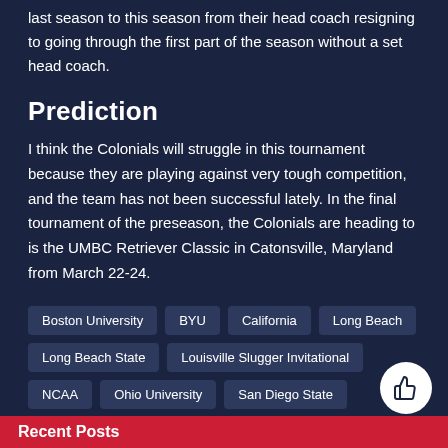last season to this season from their head coach resigning to going through the first part of the season without a set head coach.
Prediction
I think the Colonials will struggle in this tournament because they are playing against very tough competition, and the team has not been successful lately. In the final tournament of the preseason, the Colonials are heading to is the UMBC Retriever Classic in Catonsville, Maryland from March 22-24.
Boston University
BYU
California
Long Beach
Long Beach State
Louisville Slugger Invitational
NCAA
Ohio University
San Diego State
Softball
UCLA
Recent Posts